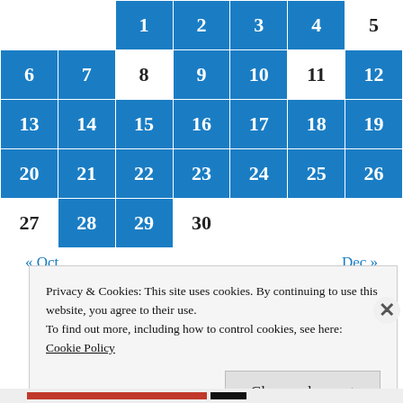|  |  | 1 | 2 | 3 | 4 | 5 |
| 6 | 7 | 8 | 9 | 10 | 11 | 12 |
| 13 | 14 | 15 | 16 | 17 | 18 | 19 |
| 20 | 21 | 22 | 23 | 24 | 25 | 26 |
| 27 | 28 | 29 | 30 |  |  |  |
« Oct    Dec »
Privacy & Cookies: This site uses cookies. By continuing to use this website, you agree to their use.
To find out more, including how to control cookies, see here:
Cookie Policy
Close and accept